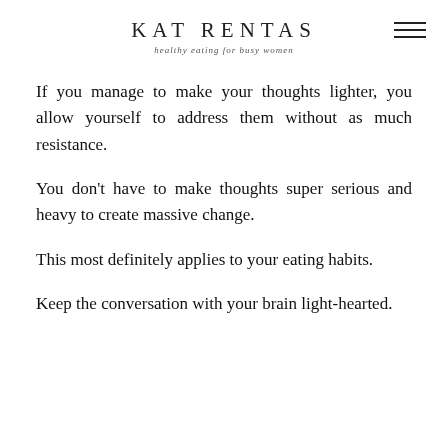KAT RENTAS
healthy eating for busy women
If you manage to make your thoughts lighter, you allow yourself to address them without as much resistance.
You don't have to make thoughts super serious and heavy to create massive change.
This most definitely applies to your eating habits.
Keep the conversation with your brain light-hearted.